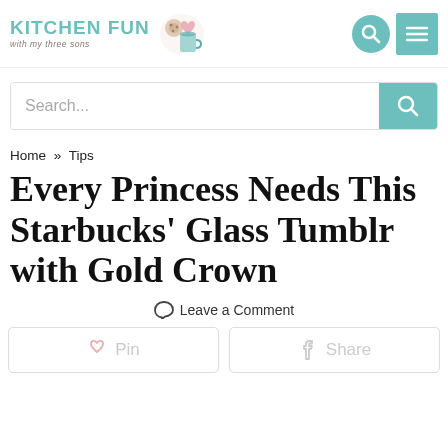Kitchen Fun with my three sons
Search...
Home » Tips
Every Princess Needs This Starbucks' Glass Tumblr with Gold Crown
Leave a Comment